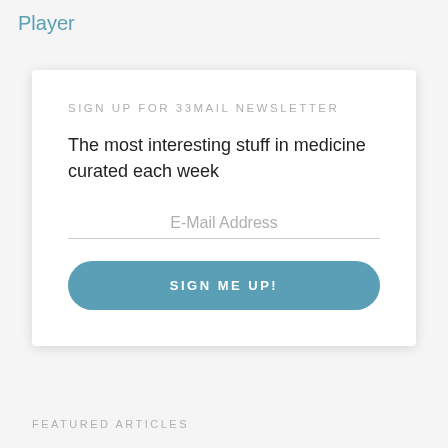Player
SIGN UP FOR 33MAIL NEWSLETTER
The most interesting stuff in medicine curated each week
E-Mail Address
SIGN ME UP!
FEATURED ARTICLES